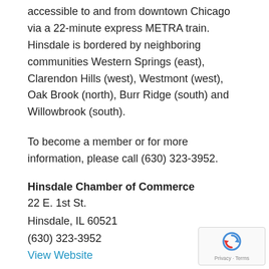accessible to and from downtown Chicago via a 22-minute express METRA train. Hinsdale is bordered by neighboring communities Western Springs (east), Clarendon Hills (west), Westmont (west), Oak Brook (north), Burr Ridge (south) and Willowbrook (south).
To become a member or for more information, please call (630) 323-3952.
Hinsdale Chamber of Commerce
22 E. 1st St.
Hinsdale, IL 60521
(630) 323-3952
View Website
YOUR EXCLUSIVE INVITATIONS
[Figure (other): reCAPTCHA privacy widget in bottom right corner]